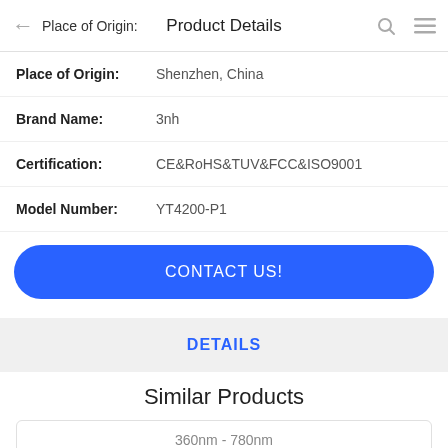Product Details
| Label | Value |
| --- | --- |
| Place of Origin: | Shenzhen, China |
| Brand Name: | 3nh |
| Certification: | CE&RoHS&TUV&FCC&ISO9001 |
| Model Number: | YT4200-P1 |
CONTACT US!
DETAILS
Similar Products
360nm - 780nm